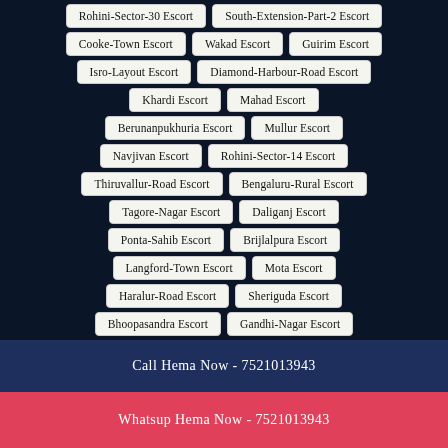Rohini-Sector-30 Escort
South-Extension-Part-2 Escort
Cooke-Town Escort
Wakad Escort
Guirim Escort
Isro-Layout Escort
Diamond-Harbour-Road Escort
Khardi Escort
Mahad Escort
Berunanpukhuria Escort
Mullur Escort
Navjivan Escort
Rohini-Sector-14 Escort
Thiruvallur-Road Escort
Bengaluru-Rural Escort
Tagore-Nagar Escort
Daliganj Escort
Ponta-Sahib Escort
Brijlalpura Escort
Langford-Town Escort
Mota Escort
Haralur-Road Escort
Sheriguda Escort
Bhoopasandra Escort
Gandhi-Nagar Escort
Call Hema Now - 7521013943
Whatsup Hema Now - 7521013943